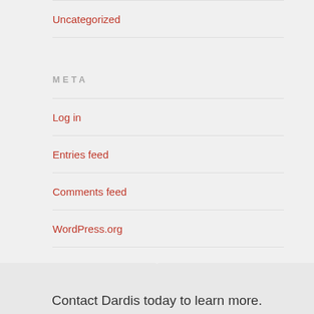Uncategorized
META
Log in
Entries feed
Comments feed
WordPress.org
Contact Dardis today to learn more.